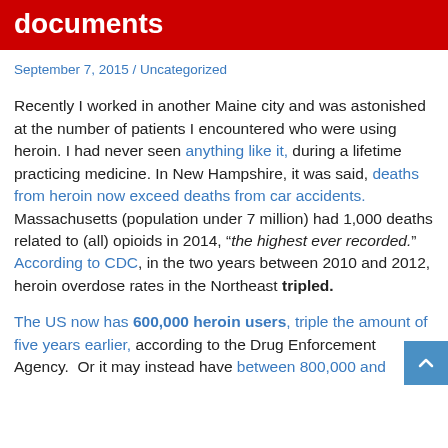documents
September 7, 2015 / Uncategorized
Recently I worked in another Maine city and was astonished at the number of patients I encountered who were using heroin. I had never seen anything like it, during a lifetime practicing medicine. In New Hampshire, it was said, deaths from heroin now exceed deaths from car accidents. Massachusetts (population under 7 million) had 1,000 deaths related to (all) opioids in 2014, “the highest ever recorded.”  According to CDC, in the two years between 2010 and 2012, heroin overdose rates in the Northeast tripled.
The US now has 600,000 heroin users, triple the amount of five years earlier, according to the Drug Enforcement Agency.  Or it may instead have between 800,000 and 1 million, according to RAND, greater than the...